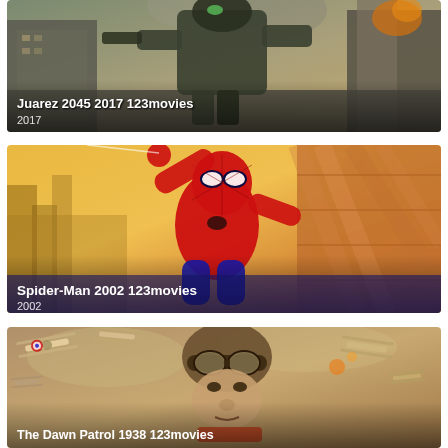[Figure (photo): Movie poster for Juarez 2045 (2017) showing a large armored robot/mech warrior on a city street with smoke and buildings in the background]
Juarez 2045 2017 123movies
2017
[Figure (photo): Movie poster for Spider-Man 2002 showing Spider-Man in red and blue costume swinging/leaping with a golden city skyline and reflective building facade in the background]
Spider-Man 2002 123movies
2002
[Figure (photo): Movie poster for The Dawn Patrol 1938 showing a WWI aviator pilot with goggles against a background of biplane aircraft in aerial combat]
The Dawn Patrol 1938 123movies